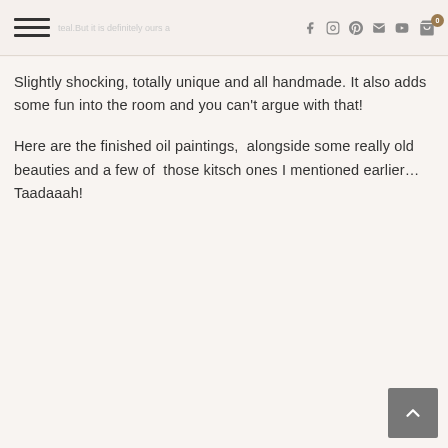I know this may not be everyone's cup of teal. But it is definitely ours and we love it!
Slightly shocking, totally unique and all handmade. It also adds some fun into the room and you can't argue with that!
Here are the finished oil paintings,  alongside some really old beauties and a few of  those kitsch ones I mentioned earlier… Taadaaah!